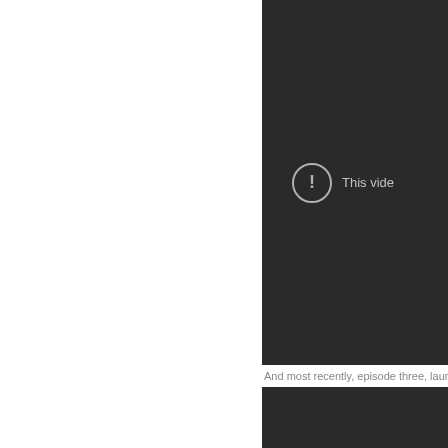[Figure (screenshot): Dark video player area (top) showing an error icon (exclamation mark in circle) with partial text 'This vide...' on dark background]
And most recently, episode three, laun
[Figure (screenshot): Dark video player area (bottom), partially visible]